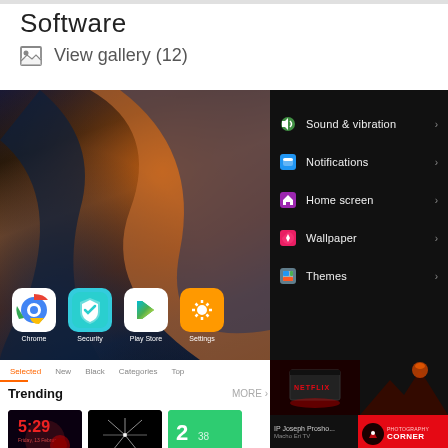Software
View gallery (12)
[Figure (screenshot): Left: Android phone home screen with colorful wallpaper and app icons (Chrome, Security, Play Store, Settings). Right: Android settings menu on dark background showing Sound & vibration, Notifications, Home screen, Wallpaper, Themes options.]
[Figure (screenshot): Bottom panel showing category tabs (Selected, New, Black, Categories, Top), Trending section with MORE link, and three wallpaper thumbnails (Spider-Man clock 5:29, sparks on black, green with number 2). Right side shows Netflix dark wallpaper, volcano image, Macho Eri TV label, and Photography Corner branding.]